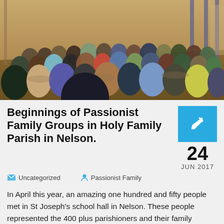[Figure (photo): Crowd of approximately 150 people seated at round tables in a large hall with wooden paneled walls, viewed from an elevated angle]
Beginnings of Passionist Family Groups in Holy Family Parish in Nelson.
Uncategorized   Passionist Family   24 JUN 2017
In April this year, an amazing one hundred and fifty people met in St Joseph's school hall in Nelson. These people represented the 400 plus parishioners and their family members who had indicated an interest in becoming members at the inception of Passionist Family groups in the combined parishes of St Francis of Assisi Stoke, and St Mary's in Nelson. This amazing response was an accolade to the